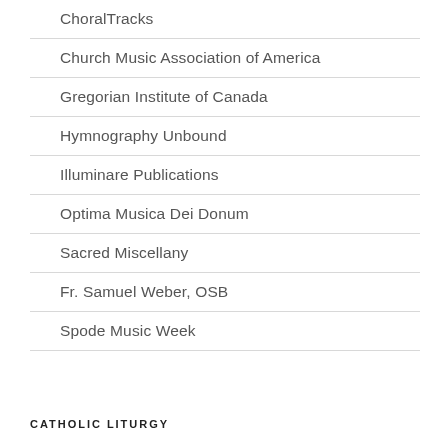ChoralTracks
Church Music Association of America
Gregorian Institute of Canada
Hymnography Unbound
Illuminare Publications
Optima Musica Dei Donum
Sacred Miscellany
Fr. Samuel Weber, OSB
Spode Music Week
CATHOLIC LITURGY